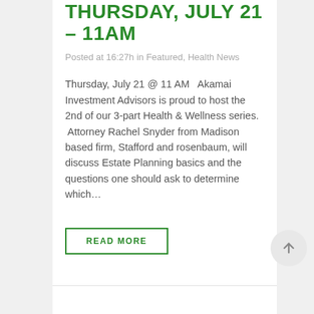THURSDAY, JULY 21 – 11AM
Posted at 16:27h in Featured, Health News
Thursday, July 21 @ 11 AM  Akamai Investment Advisors is proud to host the 2nd of our 3-part Health & Wellness series.  Attorney Rachel Snyder from Madison based firm, Stafford and rosenbaum, will discuss Estate Planning basics and the questions one should ask to determine which…
READ MORE